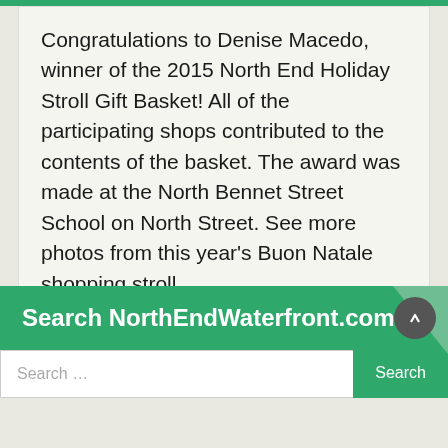Congratulations to Denise Macedo, winner of the 2015 North End Holiday Stroll Gift Basket! All of the participating shops contributed to the contents of the basket. The award was made at the North Bennet Street School on North Street. See more photos from this year's Buon Natale shopping stroll.
Tue, Dec. 22, 2015  NorthEndWaterfront.com  Comments Off
Search NorthEndWaterfront.com